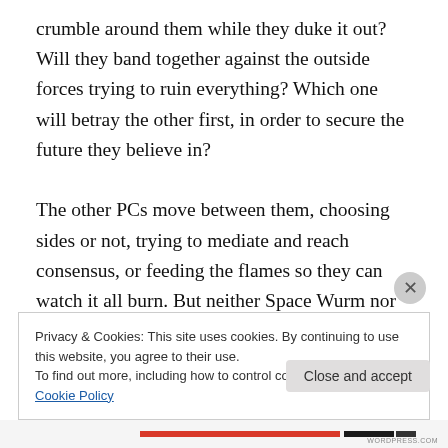crumble around them while they duke it out? Will they band together against the outside forces trying to ruin everything? Which one will betray the other first, in order to secure the future they believe in?

The other PCs move between them, choosing sides or not, trying to mediate and reach consensus, or feeding the flames so they can watch it all burn. But neither Space Wurm nor Moonicorn can succeed alone. In order to win, they need the support of the other PCs. What will they do to win their loyalty? What—and who—will they sacrifice in
Privacy & Cookies: This site uses cookies. By continuing to use this website, you agree to their use.
To find out more, including how to control cookies, see here: Cookie Policy